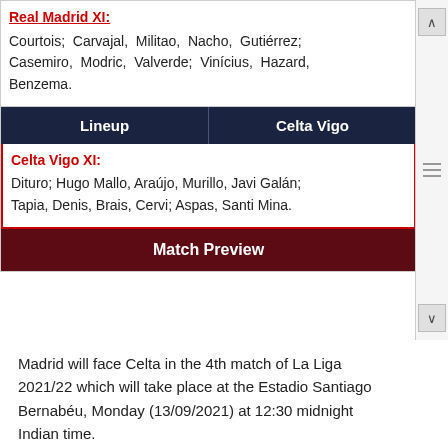Real Madrid XI: Courtois; Carvajal, Militao, Nacho, Gutiérrez; Casemiro, Modric, Valverde; Vinícius, Hazard, Benzema.
| Lineup | Celta Vigo |
| --- | --- |
Celta Vigo XI: Dituro; Hugo Mallo, Araújo, Murillo, Javi Galán; Tapia, Denis, Brais, Cervi; Aspas, Santi Mina.
Match Preview
Madrid will face Celta in the 4th match of La Liga 2021/22 which will take place at the Estadio Santiago Bernabéu, Monday (13/09/2021) at 12:30 midnight Indian time.
Madrid currently tops the standings with a score of 7 points. The club nicknamed Los Blancos has performed quite well this season and has not